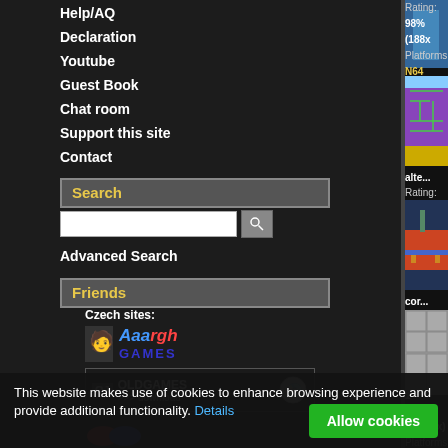Help/AQ
Declaration
Youtube
Guest Book
Chat room
Support this site
Contact
Search
Advanced Search
Friends
Czech sites:
[Figure (logo): Aaargh Games logo]
[Figure (logo): OJ OldGames download logo]
[Figure (screenshot): Game screenshot - top right area, N64 game]
Rating: 98% (188x)
Platforms: N64
[Figure (screenshot): Shark Attack game screenshot - Atari 2600 maze game]
Shark Attack (Lo...
Author (year): Apo...
Players: 1 or 2 alte...
Rating: 53% (3x)
Platforms: Atari 26...
[Figure (screenshot): Super Dodge Ball game screenshot - NES]
Super Dodge Ba...
Author (year): Tec...
Players: 1 or 2 cor...
Rating: 48% (4x)
Platforms: NES
[Figure (screenshot): Atomic Punk game screenshot - Game Boy]
Atomic Punk (Bo...
Author (year): Hud...
Players: 1
Rating: 83% (3x)
Platforms: Game B...
This website makes use of cookies to enhance browsing experience and provide additional functionality. Details
Allow cookies